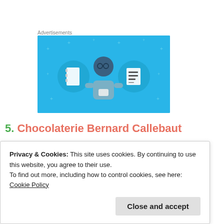Advertisements
[Figure (illustration): Advertisement banner with light blue background showing an illustrated person holding a phone, flanked by two circular icons — one with a notebook and one with a lined document, on a bright blue background with star/dot decorations.]
5. Chocolaterie Bernard Callebaut
Privacy & Cookies: This site uses cookies. By continuing to use this website, you agree to their use.
To find out more, including how to control cookies, see here: Cookie Policy
Close and accept